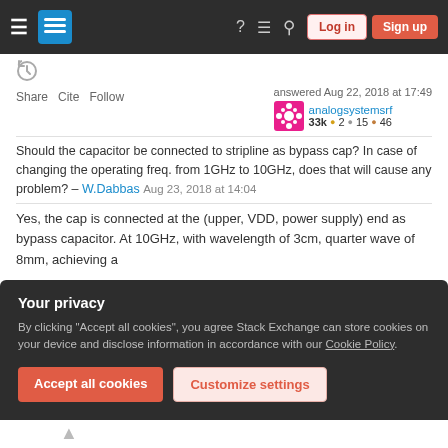Stack Exchange navigation bar with Log in and Sign up buttons
Share  Cite  Follow   answered Aug 22, 2018 at 17:49  analogsystemsrf  33k  2  15  46
Should the capacitor be connected to stripline as bypass cap? In case of changing the operating freq. from 1GHz to 10GHz, does that will cause any problem? – W.Dabbas  Aug 23, 2018 at 14:04
Yes, the cap is connected at the (upper, VDD, power supply) end as bypass capacitor. At 10GHz, with wavelength of 3cm, quarter wave of 8mm, achieving a
Your privacy
By clicking "Accept all cookies", you agree Stack Exchange can store cookies on your device and disclose information in accordance with our Cookie Policy.
Accept all cookies   Customize settings